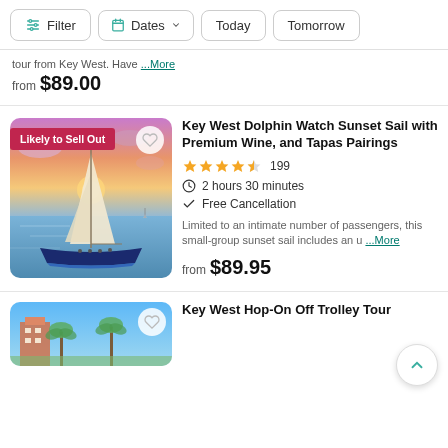Filter | Dates | Today | Tomorrow
tour from Key West. Have ...More
from $89.00
Key West Dolphin Watch Sunset Sail with Premium Wine, and Tapas Pairings
4.5 stars 199
2 hours 30 minutes
Free Cancellation
Limited to an intimate number of passengers, this small-group sunset sail includes an u ...More
from $89.95
Key West Hop-On Off Trolley Tour
[Figure (photo): Sailboat on ocean at sunset with orange/pink/purple sky, 'Likely to Sell Out' badge]
[Figure (photo): Blue sky with tropical building and palm trees]